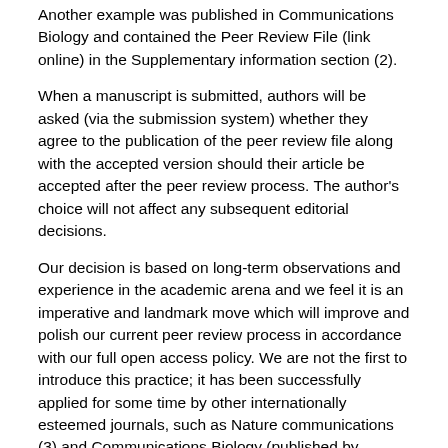Another example was published in Communications Biology and contained the Peer Review File (link online) in the Supplementary information section (2).
When a manuscript is submitted, authors will be asked (via the submission system) whether they agree to the publication of the peer review file along with the accepted version should their article be accepted after the peer review process. The author's choice will not affect any subsequent editorial decisions.
Our decision is based on long-term observations and experience in the academic arena and we feel it is an imperative and landmark move which will improve and polish our current peer review process in accordance with our full open access policy. We are not the first to introduce this practice; it has been successfully applied for some time by other internationally esteemed journals, such as Nature communications (3) and Communications Biology (published by Springer Nature) (4).
Specifically:
1. While the published peer review files will focus on reviewer comments and the corresponding author responses, they will only contain a manuscript's peer review history at JSS. If a manuscript is submitted to us after review at another journal, those referee reports